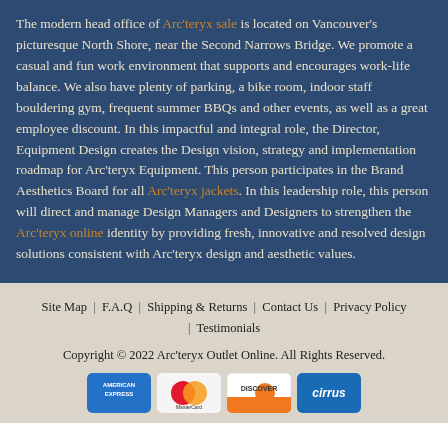The modern head office of Arc'teryx sale is located on Vancouver's picturesque North Shore, near the Second Narrows Bridge. We promote a casual and fun work environment that supports and encourages work-life balance. We also have plenty of parking, a bike room, indoor staff bouldering gym, frequent summer BBQs and other events, as well as a great employee discount. In this impactful and integral role, the Director, Equipment Design creates the Design vision, strategy and implementation roadmap for Arc'teryx Equipment. This person participates in the Brand Aesthetics Board for all Arc'teryx jackets. In this leadership role, this person will direct and manage Design Managers and Designers to strengthen the Arc'teryx online identity by providing fresh, innovative and resolved design solutions consistent with Arc'teryx design and aesthetic values.
Site Map | F.A.Q | Shipping & Returns | Contact Us | Privacy Policy | Testimonials
Copyright © 2022 Arc'teryx Outlet Online. All Rights Reserved.
[Figure (other): Payment method icons: American Express, MasterCard, Discover, Cirrus]